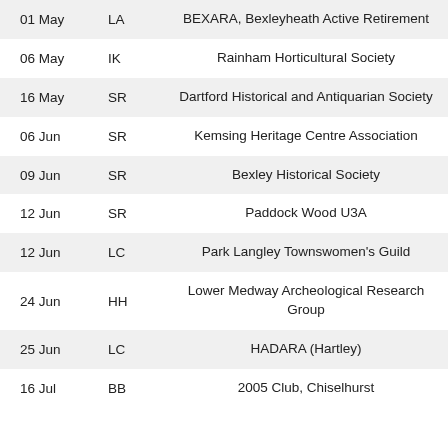| Date | Code | Organisation |
| --- | --- | --- |
| 01 May | LA | BEXARA, Bexleyheath Active Retirement |
| 06 May | IK | Rainham Horticultural Society |
| 16 May | SR | Dartford Historical and Antiquarian Society |
| 06 Jun | SR | Kemsing Heritage Centre Association |
| 09 Jun | SR | Bexley Historical Society |
| 12 Jun | SR | Paddock Wood U3A |
| 12 Jun | LC | Park Langley Townswomen's Guild |
| 24 Jun | HH | Lower Medway Archeological Research Group |
| 25 Jun | LC | HADARA (Hartley) |
| 16 Jul | BB | 2005 Club, Chiselhurst |